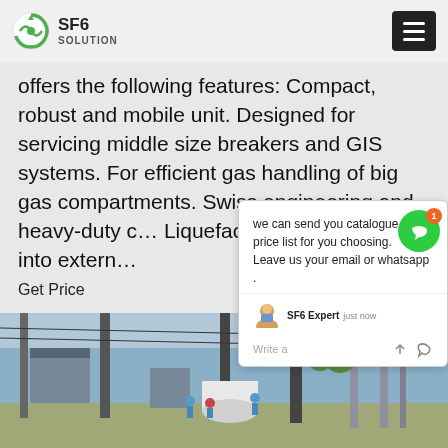SF6 SOLUTION
offers the following features: Compact, robust and mobile unit. Designed for servicing middle size breakers and GIS systems. For efficient gas handling of big gas compartments. Swiss engineering and heavy-duty. Liquefaction and storage into extern
Get Price
we can send you catalogue and price list for you choosing.
Leave us your email or whatsapp .
SF6 Expert   just now
Write a
[Figure (photo): Outdoor electrical substation with workers in blue uniforms, tall transformer columns, white cylindrical tanks, and extensive cable and tower infrastructure under a cloudy sky.]